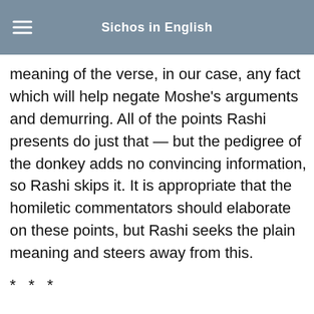Sichos in English
meaning of the verse, in our case, any fact which will help negate Moshe’s arguments and demurring. All of the points Rashi presents do just that — but the pedigree of the donkey adds no convincing information, so Rashi skips it. It is appropriate that the homiletic commentators should elaborate on these points, but Rashi seeks the plain meaning and steers away from this.
* * *